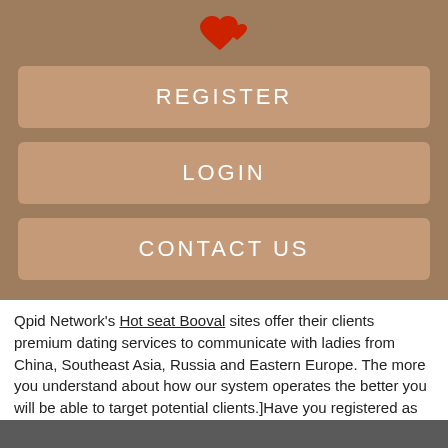[Figure (logo): Red heart/Qpid network logo icon]
REGISTER
LOGIN
CONTACT US
Qpid Network's Hot seat Booval sites offer their clients premium dating services to communicate with ladies from China, Southeast Asia, Russia and Eastern Europe. The more you understand about how our system operates the better you will be able to target potential clients.]Have you registered as an affiliate with Clickbank?
we do have a few people outside of Australia in the members area (UK, USA, Holland.